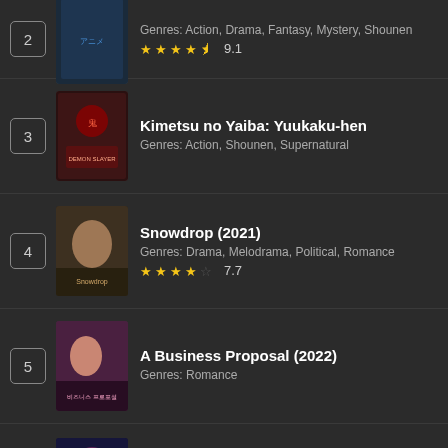2 — Genres: Action, Drama, Fantasy, Mystery, Shounen — Rating: 9.1
3 — Kimetsu no Yaiba: Yuukaku-hen — Genres: Action, Shounen, Supernatural
4 — Snowdrop (2021) — Genres: Drama, Melodrama, Political, Romance — Rating: 7.7
5 — A Business Proposal (2022) — Genres: Romance
6 — Shuumatsu no Harem — Genres: Ecchi, Harem, Sci-Fi, Shounen — Rating: 6.63
7 — F4 Thailand: Boys Over Flowers (2021)